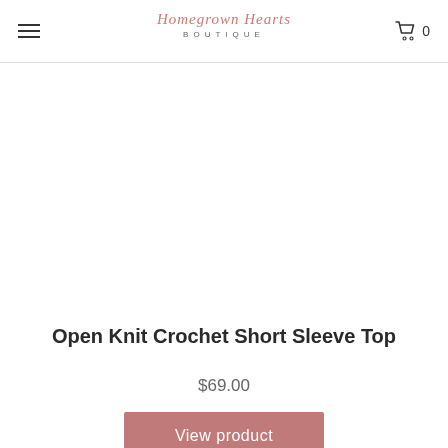Homegrown Hearts BOUTIQUE  0
[Figure (other): Product image area — white/light grey blank area where a crochet top photo would appear]
Open Knit Crochet Short Sleeve Top
$69.00
View product